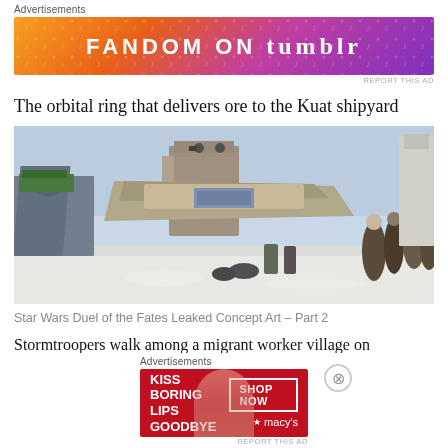Advertisements
[Figure (illustration): Fandom on Tumblr advertisement banner with orange-purple gradient background and musical note decorations]
REPORT THIS AD
The orbital ring that delivers ore to the Kuat shipyard
[Figure (photo): Star Wars Duel of the Fates leaked concept art showing stormtroopers walking among a migrant worker village on a snowy planet with large ruined structures]
Star Wars Duel of the Fates Leaked Concept Art – Part 2
Stormtroopers walk among a migrant worker village on
Advertisements
[Figure (illustration): Macy's advertisement: KISS BORING LIPS GOODBYE with SHOP NOW button and Macy's logo on red background with woman's face]
REPORT THIS AD